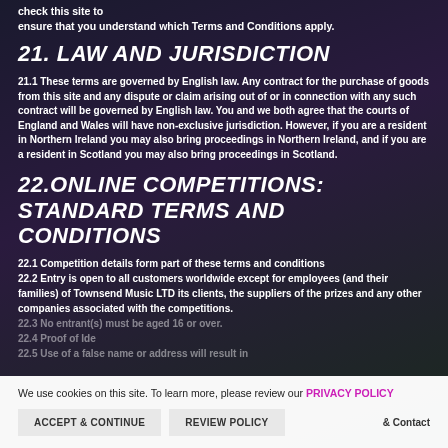check this site to ensure that you understand which Terms and Conditions apply.
21. LAW AND JURISDICTION
21.1 These terms are governed by English law. Any contract for the purchase of goods from this site and any dispute or claim arising out of or in connection with any such contract will be governed by English law. You and we both agree that the courts of England and Wales will have non-exclusive jurisdiction. However, if you are a resident in Northern Ireland you may also bring proceedings in Northern Ireland, and if you are a resident in Scotland you may also bring proceedings in Scotland.
22.ONLINE COMPETITIONS: STANDARD TERMS AND CONDITIONS
22.1 Competition details form part of these terms and conditions
22.2 Entry is open to all customers worldwide except for employees (and their families) of Townsend Music LTD its clients, the suppliers of the prizes and any other companies associated with the competitions.
22.3 No entrant(s) must be aged 16 or over.
22.4 Proof of Ide...
22.5 Use of a false name or address will result in ...
We use cookies on this site. To learn more, please review our PRIVACY POLICY
ACCEPT & CONTINUE   REVIEW POLICY   & Contact